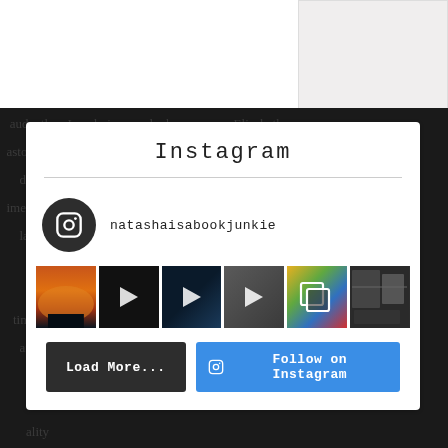[Figure (screenshot): Top white area with gray box in upper right corner]
[Figure (screenshot): Dark background with cursive/script handwriting text overlay]
Instagram
natashaisabookjunkie
[Figure (photo): Instagram widget showing 6 thumbnail images: a sunset over water, 3 video thumbnails with play buttons, a bookstore/library photo with gallery icon, and another photo]
Load More...
Follow on Instagram